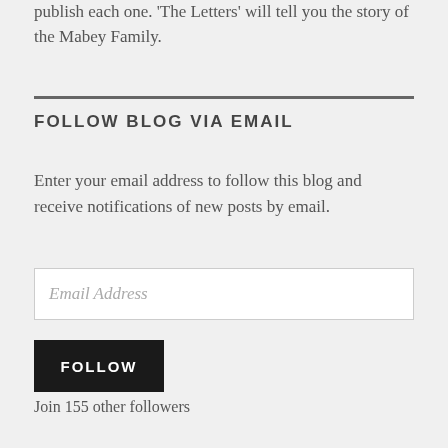publish each one. 'The Letters' will tell you the story of the Mabey Family.
FOLLOW BLOG VIA EMAIL
Enter your email address to follow this blog and receive notifications of new posts by email.
Email Address
FOLLOW
Join 155 other followers